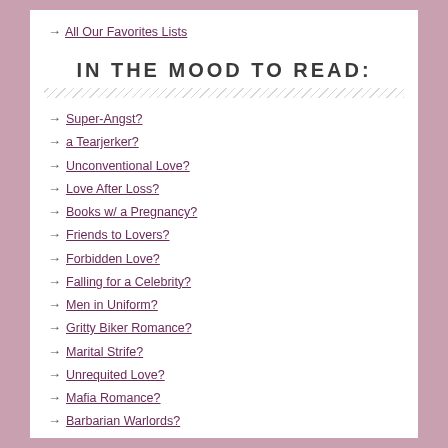All Our Favorites Lists
IN THE MOOD TO READ:
Super-Angst?
a Tearjerker?
Unconventional Love?
Love After Loss?
Books w/ a Pregnancy?
Friends to Lovers?
Forbidden Love?
Falling for a Celebrity?
Men in Uniform?
Gritty Biker Romance?
Marital Strife?
Unrequited Love?
Mafia Romance?
Barbarian Warlords?
Arranged Marriage?